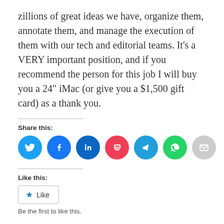zillions of great ideas we have, organize them, annotate them, and manage the execution of them with our tech and editorial teams. It’s a VERY important position, and if you recommend the person for this job I will buy you a 24” iMac (or give you a $1,500 gift card) as a thank you.
Share this:
[Figure (other): Social sharing icons row: Twitter (blue), Facebook (blue), LinkedIn (dark blue), Pocket (red), Telegram (blue), WhatsApp (green), Email (gray)]
Like this:
[Figure (other): Like button with star icon and text 'Like']
Be the first to like this.